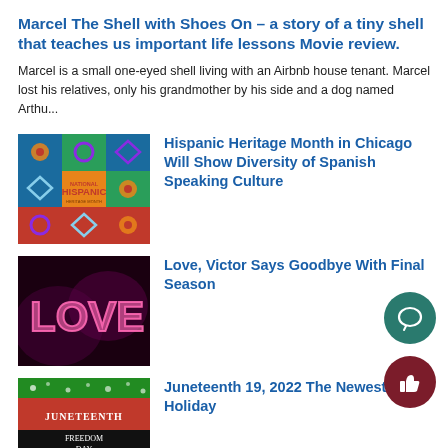Marcel The Shell with Shoes On – a story of a tiny shell that teaches us important life lessons Movie review.
Marcel is a small one-eyed shell living with an Airbnb house tenant. Marcel lost his relatives, only his grandmother by his side and a dog named Arthu...
[Figure (illustration): Colorful National Hispanic Heritage Month graphic with flowers, diamonds, and circles on a blue, green, red background]
Hispanic Heritage Month in Chicago Will Show Diversity of Spanish Speaking Culture
[Figure (photo): Dark background with pink neon-style letters spelling LOVE]
Love, Victor Says Goodbye With Final Season
[Figure (illustration): Juneteenth Freedom Day graphic with red, black, green colors and white text]
Juneteenth 19, 2022 The Newest Fe... Holiday